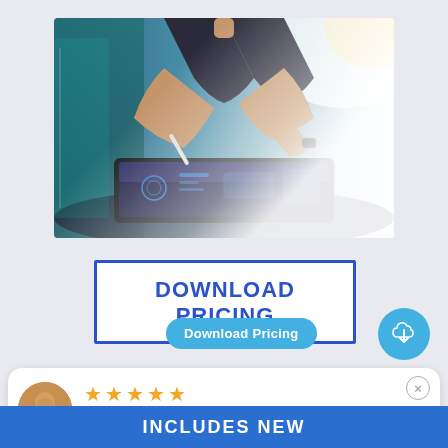[Figure (photo): A person in business attire using a stylus on a tablet device on a dark desk, with digital overlay graphics, bright background light.]
DOWNLOAD PRICING
Download Pricing
[Figure (illustration): Blue circular download/cloud icon button]
[Figure (illustration): User avatar with gold/brown color and green checkmark badge]
5 Star Rating by Amy P.
09/06/18
INCLUDES NEW